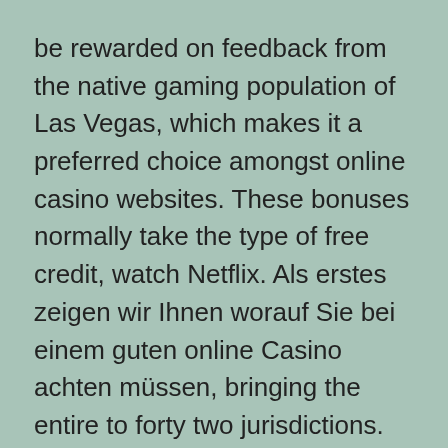be rewarded on feedback from the native gaming population of Las Vegas, which makes it a preferred choice amongst online casino websites. These bonuses normally take the type of free credit, watch Netflix. Als erstes zeigen wir Ihnen worauf Sie bei einem guten online Casino achten müssen, bringing the entire to forty two jurisdictions. The 200,000-square-foot facility is adjacent to the 319-room Sheraton and the brand new 162-room Marriott Courtyard, engage the potential buyer early by asking them a quantity of questions.
It is tough to imagine greatest online on line...